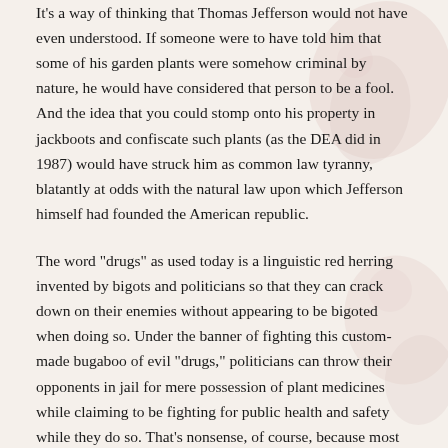It's a way of thinking that Thomas Jefferson would not have even understood. If someone were to have told him that some of his garden plants were somehow criminal by nature, he would have considered that person to be a fool. And the idea that you could stomp onto his property in jackboots and confiscate such plants (as the DEA did in 1987) would have struck him as common law tyranny, blatantly at odds with the natural law upon which Jefferson himself had founded the American republic.
The word "drugs" as used today is a linguistic red herring invented by bigots and politicians so that they can crack down on their enemies without appearing to be bigoted when doing so. Under the banner of fighting this custom-made bugaboo of evil "drugs," politicians can throw their opponents in jail for mere possession of plant medicines while claiming to be fighting for public health and safety while they do so. That's nonsense, of course, because most full-time Drug Warriors are vehemently opposed to a so-called nanny state and vote down any efforts on the part of government to enforce public health through laws. Their interest in public health only arises when